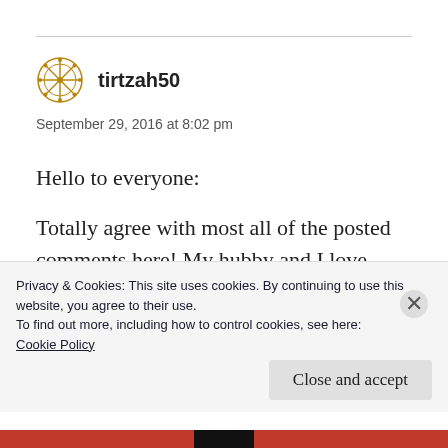tirtzah50
September 29, 2016 at 8:02 pm
Hello to everyone:
Totally agree with most all of the posted comments here! My hubby and I love people and true, loyal and long standing relationships with others, neighbors, community, friends,
Privacy & Cookies: This site uses cookies. By continuing to use this website, you agree to their use.
To find out more, including how to control cookies, see here:
Cookie Policy
Close and accept